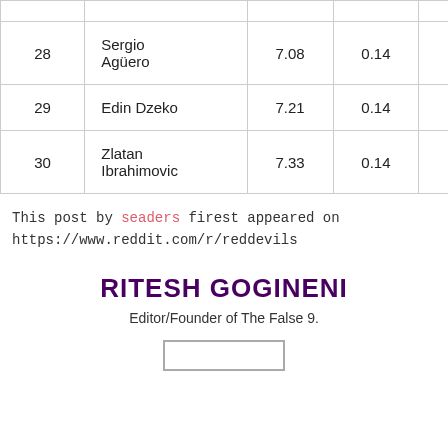| # | Name | Col3 | Col4 | Col5 | Col6 |
| --- | --- | --- | --- | --- | --- |
| 28 | Sergio Agüero | 7.08 | 0.14 | 1.77 | 0.5 |
| 29 | Edin Dzeko | 7.21 | 0.14 | 1.96 | 0.5 |
| 30 | Zlatan Ibrahimovic | 7.33 | 0.14 | 1.86 | 0.5 |
This post by seaders firest appeared on https://www.reddit.com/r/reddevils
RITESH GOGINENI
Editor/Founder of The False 9.